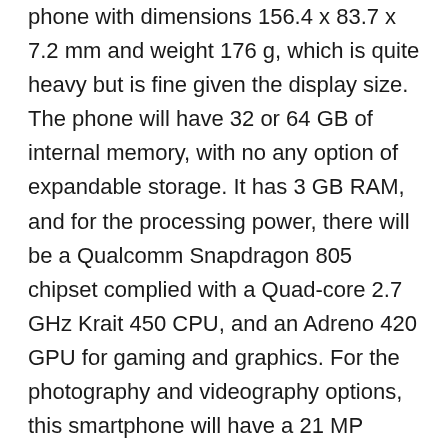phone with dimensions 156.4 x 83.7 x 7.2 mm and weight 176 g, which is quite heavy but is fine given the display size. The phone will have 32 or 64 GB of internal memory, with no any option of expandable storage. It has 3 GB RAM, and for the processing power, there will be a Qualcomm Snapdragon 805 chipset complied with a Quad-core 2.7 GHz Krait 450 CPU, and an Adreno 420 GPU for gaming and graphics. For the photography and videography options, this smartphone will have a 21 MP primary camera with autofocus, optical image stabilization and LED flash which can capture videos upto 2160p @ 24 fps, and a 1.3 MP secondary camera for video calls and selfies. The juice will be provided by a Non-removable Li-Ion 3900 mAh battery, which is said to give two days battery life. It will also have the turbo-charging feature, which will have your battery charged 60% in 30 minutes. For the connectivity options, there will be LTE support, InfraRed, microUSB v2.0, Bluetooth 4.0, WiFi and NFC. The phone will run on Android 4.4.4 KitKat operating system, with planned